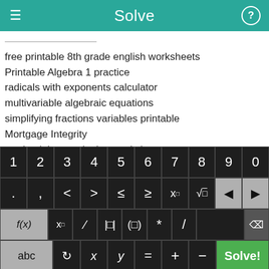Solve
free printable 8th grade english worksheets
Printable Algebra 1 practice
radicals with exponents calculator
multivariable algebraic equations
simplifying fractions variables printable
Mortgage Integrity
grade eight pre-algebra worksheets
boolean algebra visual basic
TI 83 ROM code
Bankruptcy Lawyers
[Figure (screenshot): Mathematical keyboard with numeric row 1-9,0; symbol row with . , < > ≤ ≥ x^□ √□ and backspace/forward keys; function row with f(x) x□ fraction absolute-value parentheses * / and delete key; bottom row with abc ↺ x y = + − and green Solve! button]